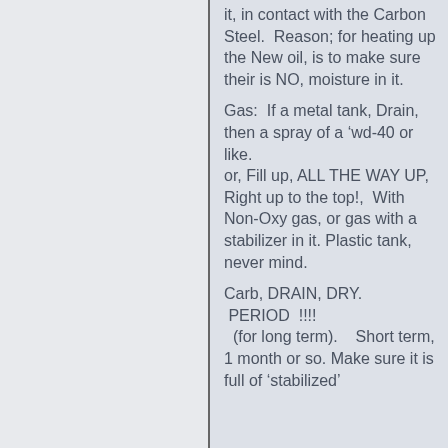it, in contact with the Carbon Steel. Reason; for heating up the New oil, is to make sure their is NO, moisture in it.
Gas: If a metal tank, Drain, then a spray of a 'wd-40 or like. or, Fill up, ALL THE WAY UP, Right up to the top!, With Non-Oxy gas, or gas with a stabilizer in it. Plastic tank, never mind.
Carb, DRAIN, DRY. PERIOD !!!!! (for long term). Short term, 1 month or so. Make sure it is full of 'stabilized'